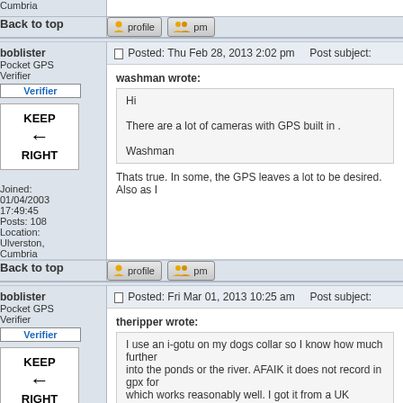Cumbria
Back to top
boblister Pocket GPS Verifier
Posted: Thu Feb 28, 2013 2:02 pm    Post subject:
washman wrote: Hi There are a lot of cameras with GPS built in . Washman
Thats true. In some, the GPS leaves a lot to be desired. Also as I
Joined: 01/04/2003 17:49:45 Posts: 108 Location: Ulverston, Cumbria
Back to top
boblister Pocket GPS Verifier
Posted: Fri Mar 01, 2013 10:25 am    Post subject:
theripper wrote: I use an i-gotu on my dogs collar so I know how much further into the ponds or the river. AFAIK it does not record in gpx for which works reasonably well. I got it from a UK supplier and it to you so you can read up on it.
Joined: 01/04/2003